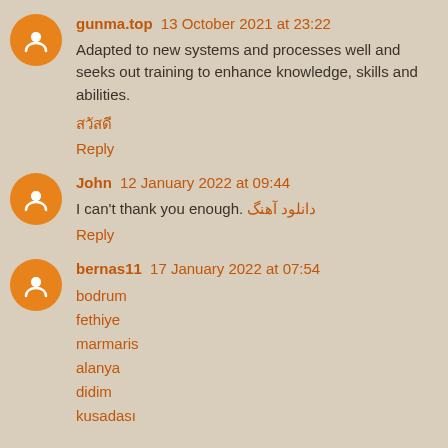gunma.top 13 October 2021 at 23:22
Adapted to new systems and processes well and seeks out training to enhance knowledge, skills and abilities.
สวัสดี
Reply
John 12 January 2022 at 09:44
I can't thank you enough. دانلود آهنگ
Reply
bernas11 17 January 2022 at 07:54
bodrum
fethiye
marmaris
alanya
didim
kusadasi